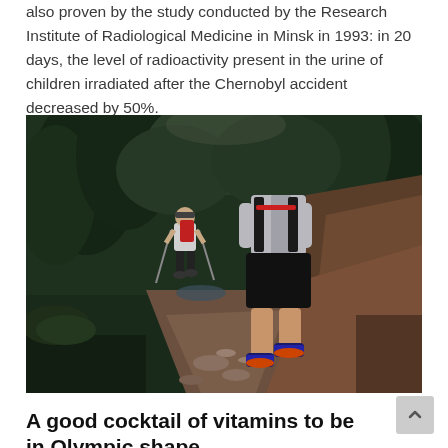also proven by the study conducted by the Research Institute of Radiological Medicine in Minsk in 1993: in 20 days, the level of radioactivity present in the urine of children irradiated after the Chernobyl accident decreased by 50%.
[Figure (photo): Two trail runners on a rocky forest path, photographed from behind. The closer runner wears black shorts and colorful trail shoes; the other wears a white shirt and uses trekking poles. Dark green forest surrounds the path.]
A good cocktail of vitamins to be in Olympic shape